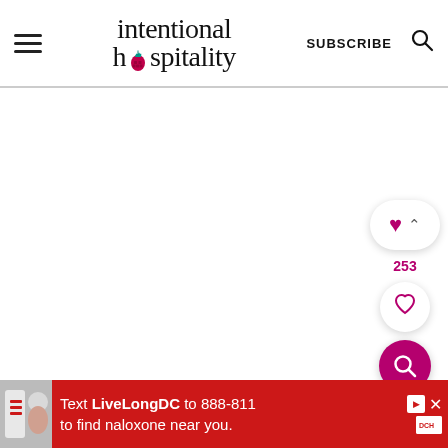intentional hospitality — SUBSCRIBE [search icon]
[Figure (screenshot): Main content area of website, mostly white/blank]
[Figure (infographic): Floating social reaction buttons: filled heart with count 253, outline heart save button, pink search button]
[Figure (photo): Advertisement banner: red background, text 'Text LiveLongDC to 888-811 to find naloxone near you.' with DC Health logo and person holding medicine packaging]